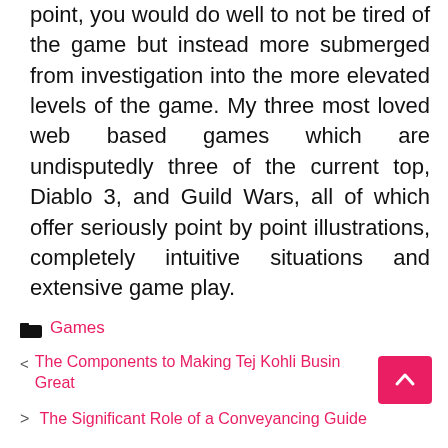point, you would do well to not be tired of the game but instead more submerged from investigation into the more elevated levels of the game. My three most loved web based games which are undisputedly three of the current top, Diablo 3, and Guild Wars, all of which offer seriously point by point illustrations, completely intuitive situations and extensive game play.
Games
< The Components to Making Tej Kohli Business Great
> The Significant Role of a Conveyancing Guide